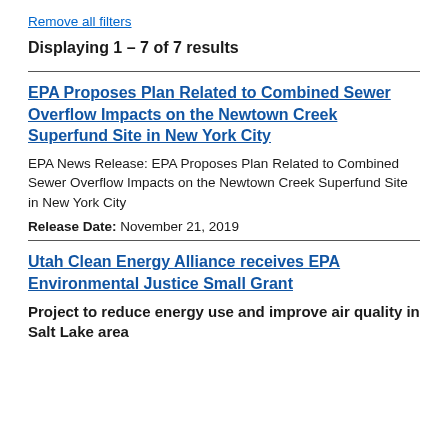Remove all filters
Displaying 1 – 7 of 7 results
EPA Proposes Plan Related to Combined Sewer Overflow Impacts on the Newtown Creek Superfund Site in New York City
EPA News Release: EPA Proposes Plan Related to Combined Sewer Overflow Impacts on the Newtown Creek Superfund Site in New York City
Release Date: November 21, 2019
Utah Clean Energy Alliance receives EPA Environmental Justice Small Grant
Project to reduce energy use and improve air quality in Salt Lake area